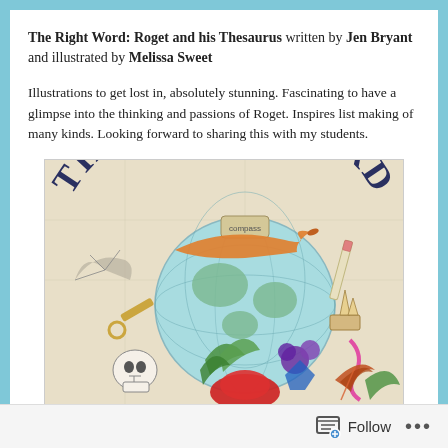The Right Word: Roget and his Thesaurus written by Jen Bryant and illustrated by Melissa Sweet
Illustrations to get lost in, absolutely stunning. Fascinating to have a glimpse into the thinking and passions of Roget. Inspires list making of many kinds. Looking forward to sharing this with my students.
[Figure (photo): Book cover of 'The Right Word' showing illustrated collage with a globe, orange fish/bird, skull, colorful objects, feather, and the arched title text 'THE RIGHT WORD']